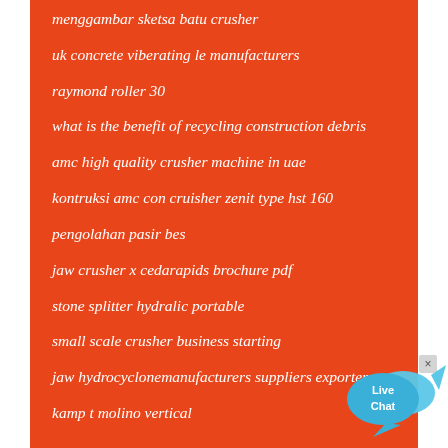menggambar sketsa batu crusher
uk concrete viberating le manufacturers
raymond roller 30
what is the benefit of recycling construction debris
amc high quality crusher machine in uae
kontruksi amc con cruisher zenit type hst 160
pengolahan pasir bes
jaw crusher x cedarapids brochure pdf
stone splitter hydralic portable
small scale crusher business starting
jaw hydrocyclonemanufacturers suppliers exporter
kamp t molino vertical
[Figure (other): Live Chat button widget with blue speech bubble and fish icon]